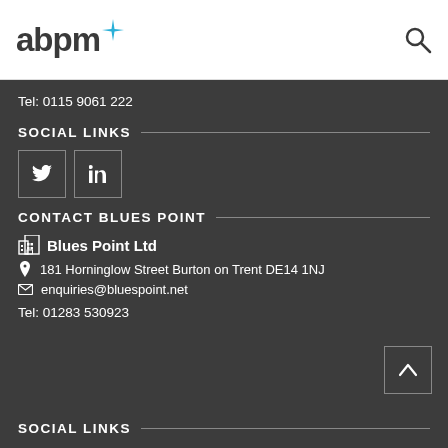abpm
Tel: 0115 9061 222
SOCIAL LINKS
[Figure (other): Twitter and LinkedIn social icon boxes]
CONTACT BLUES POINT
Blues Point Ltd
181 Horninglow Street Burton on Trent DE14 1NJ
enquiries@bluespoint.net
Tel: 01283 530923
SOCIAL LINKS